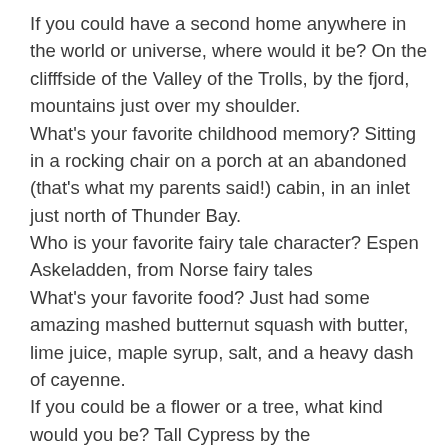If you could have a second home anywhere in the world or universe, where would it be? On the clifffside of the Valley of the Trolls, by the fjord, mountains just over my shoulder. What's your favorite childhood memory? Sitting in a rocking chair on a porch at an abandoned (that's what my parents said!) cabin, in an inlet just north of Thunder Bay. Who is your favorite fairy tale character? Espen Askeladden, from Norse fairy tales What's your favorite food? Just had some amazing mashed butternut squash with butter, lime juice, maple syrup, salt, and a heavy dash of cayenne. If you could be a flower or a tree, what kind would you be? Tall Cypress by the Mediterranean Sea